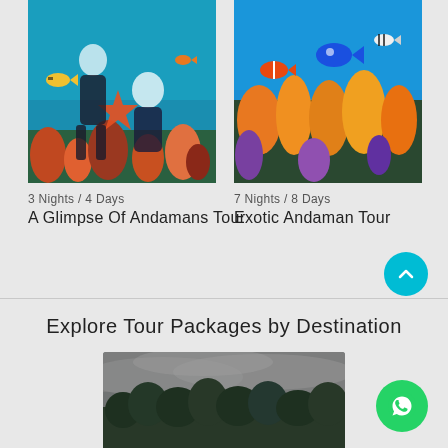[Figure (photo): Underwater snorkeling scene with people wearing diving helmets, colorful fish and coral reef, starfish visible]
3 Nights / 4 Days
A Glimpse Of Andamans Tour
[Figure (photo): Colorful coral reef underwater with tropical fish including clownfish and blue tang, vibrant orange and yellow corals]
7 Nights / 8 Days
Exotic Andaman Tour
Explore Tour Packages by Destination
[Figure (photo): Landscape photo showing dark cloudy sky over dense green tropical forest/trees]